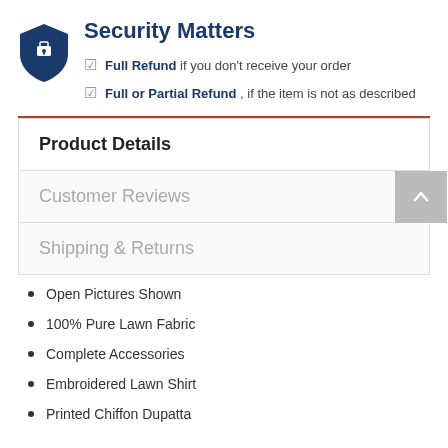[Figure (logo): Dark blue shield/lock icon for Security Matters section]
Security Matters
Full Refund if you don't receive your order
Full or Partial Refund , if the item is not as described
Product Details
Customer Reviews
Shipping & Returns
Open Pictures Shown
100% Pure Lawn Fabric
Complete Accessories
Embroidered Lawn Shirt
Printed Chiffon Dupatta